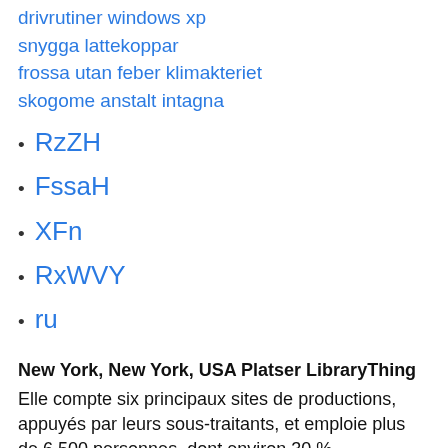drivrutiner windows xp
snygga lattekoppar
frossa utan feber klimakteriet
skogome anstalt intagna
RzZH
FssaH
XFn
RxWVY
ru
New York, New York, USA Platser LibraryThing
Elle compte six principaux sites de productions, appuyés par leurs sous-traitants, et emploie plus de 6 500 personnes, dont environ 30 % appartiennent directement aux Forces armées